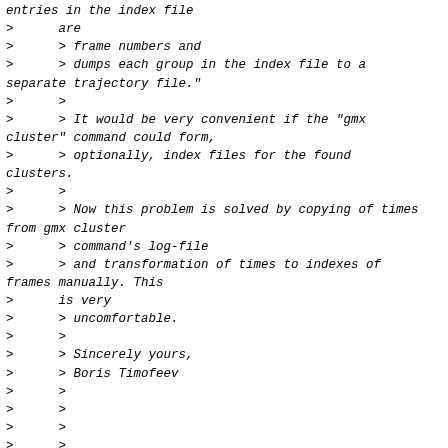entries in the index file
>      are
>      > frame numbers and
>      > dumps each group in the index file to a separate trajectory file."
>      >
>      > It would be very convenient if the "gmx cluster" command could form,
>      > optionally, index files for the found clusters.
>      >
>      > Now this problem is solved by copying of times from gmx cluster
>      > command's log-file
>      > and transformation of times to indexes of frames manually. This
>      is very
>      > uncomfortable.
>      >
>      > Sincerely yours,
>      > Boris Timofeev
>      >
>      >
>      >
>      >
>      > --
>      > Boris Timofeev
>      >
>      >
>